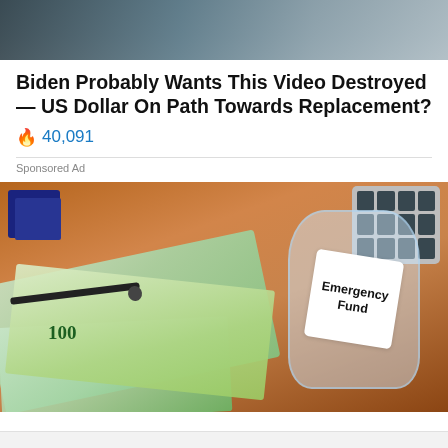[Figure (photo): Partial photo of a person at a desk, cropped at top of page]
Biden Probably Wants This Video Destroyed — US Dollar On Path Towards Replacement?
🔥 40,091
Sponsored Ad
[Figure (photo): Photo of an Emergency Fund jar filled with money lying on US dollar bills on a wooden desk, with a pen, notebook, and calculator in the background]